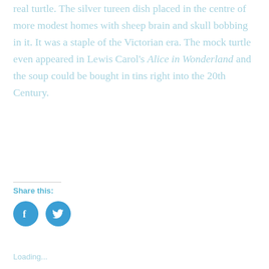real turtle. The silver tureen dish placed in the centre of more modest homes with sheep brain and skull bobbing in it. It was a staple of the Victorian era. The mock turtle even appeared in Lewis Carol's Alice in Wonderland and the soup could be bought in tins right into the 20th Century.
Share this:
[Figure (illustration): Two circular social media icon buttons: Facebook (f logo) and Twitter (bird logo), both in solid blue (#3a9ed4)]
Loading...